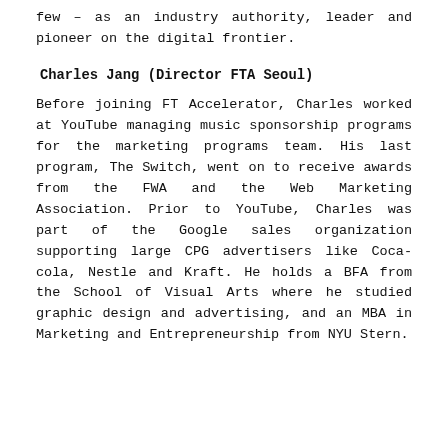few – as an industry authority, leader and pioneer on the digital frontier.
Charles Jang (Director FTA Seoul)
Before joining FT Accelerator, Charles worked at YouTube managing music sponsorship programs for the marketing programs team. His last program, The Switch, went on to receive awards from the FWA and the Web Marketing Association. Prior to YouTube, Charles was part of the Google sales organization supporting large CPG advertisers like Coca-cola, Nestle and Kraft. He holds a BFA from the School of Visual Arts where he studied graphic design and advertising, and an MBA in Marketing and Entrepreneurship from NYU Stern.